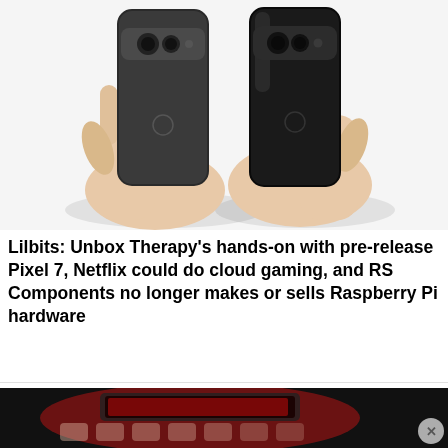[Figure (photo): Two hands each holding a Google Pixel 7 smartphone showing the back, on a white background. One phone has a matte finish and the other has a glossy black finish, both showing the distinctive horizontal camera bar.]
Lilbits: Unbox Therapy's hands-on with pre-release Pixel 7, Netflix could do cloud gaming, and RS Components no longer makes or sells Raspberry Pi hardware
[Figure (photo): Partial view of a dark-themed scene with red lighting, appears to show a gaming-related image with a keyboard or device visible, partially cropped at bottom of page.]